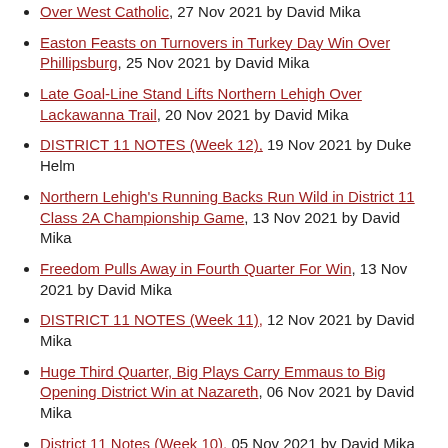Over West Catholic, 27 Nov 2021 by David Mika
Easton Feasts on Turnovers in Turkey Day Win Over Phillipsburg, 25 Nov 2021 by David Mika
Late Goal-Line Stand Lifts Northern Lehigh Over Lackawanna Trail, 20 Nov 2021 by David Mika
DISTRICT 11 NOTES (Week 12), 19 Nov 2021 by Duke Helm
Northern Lehigh's Running Backs Run Wild in District 11 Class 2A Championship Game, 13 Nov 2021 by David Mika
Freedom Pulls Away in Fourth Quarter For Win, 13 Nov 2021 by David Mika
DISTRICT 11 NOTES (Week 11), 12 Nov 2021 by David Mika
Huge Third Quarter, Big Plays Carry Emmaus to Big Opening District Win at Nazareth, 06 Nov 2021 by David Mika
District 11 Notes (Week 10), 05 Nov 2021 by David Mika